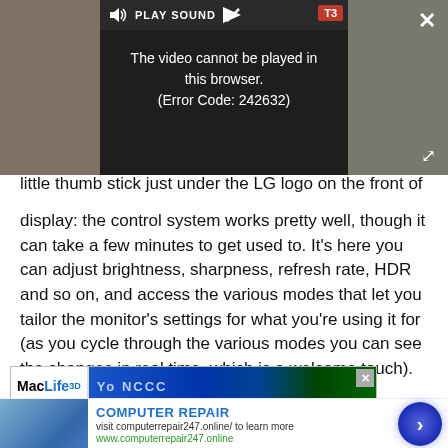[Figure (screenshot): Video player showing error message 'The video cannot be played in this browser. (Error Code: 242632)' with PLAY SOUND button and T3 badge. Dark overlay with close and expand buttons.]
little thumb stick just under the LG logo on the front of the display: the control system works pretty well, though it can take a few minutes to get used to. It's here you can adjust brightness, sharpness, refresh rate, HDR and so on, and access the various modes that let you tailor the monitor's settings for what you're using it for (as you cycle through the various modes you can see the changes in real time, which is a welcome touch).
[Figure (screenshot): Mac Life advertisement banner with colorful background.]
[Figure (screenshot): Bottom popup advertisement for Computer Repair showing image of person using computer, title 'COMPUTER REPAIR', description 'visit computerrepair247.online/ to learn more', URL 'www.computerrepair247.online', with a blue circular arrow button.]